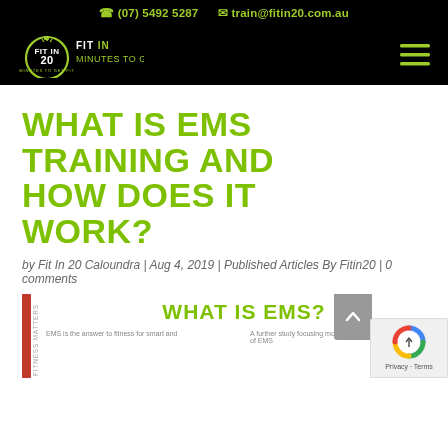(07) 5492 5287   train@fitin20.com.au
[Figure (logo): Fit In 20 logo — circular stopwatch with 'FIT IN 20 MINUTES TO GET FIT' text on black background with hamburger menu icon]
WHAT IS EMS TRAINING AND HOW DOES IT WORK?
by Fit In 20 Caloundra | Aug 4, 2019 | Published Articles By Fitin20 | 0 comments
[Figure (infographic): What Is EMS? infographic with red vertical sidebar, rotated 'FITNESS MATTERS' text, large green 'WHAT IS EMS?' heading, and two caption texts: 'EMS is the answer to fitness for smart and' and 'A further study focusing more on the internal health benefits of EMS']